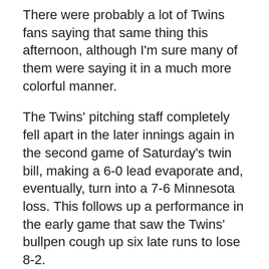There were probably a lot of Twins fans saying that same thing this afternoon, although I'm sure many of them were saying it in a much more colorful manner.
The Twins' pitching staff completely fell apart in the later innings again in the second game of Saturday's twin bill, making a 6-0 lead evaporate and, eventually, turn into a 7-6 Minnesota loss. This follows up a performance in the early game that saw the Twins' bullpen cough up six late runs to lose 8-2.
The Twins actually built up an early lead in this one, with Danny Valencia's sacrifice fly in the top of the first scoring Trevor Plouffe and giving the Twins' a 1-0 lead. They added to the lead in the top of the second, as Drew Butera brought home Brian Dinkelman with an RBI triple to make it 2-0, and Ben Revere followed with a single to score Butera and boost the lead to 3-0.